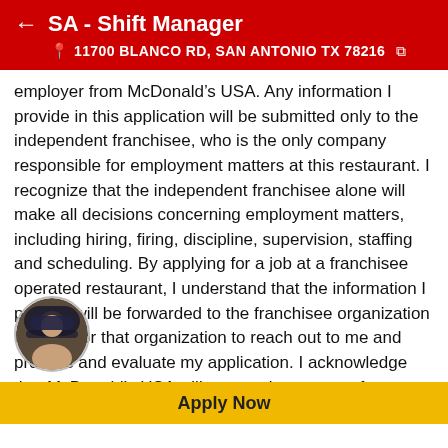SA - Shift Manager
11700 BLANCO RD, SAN ANTONIO TX 78216
employer from McDonald’s USA. Any information I provide in this application will be submitted only to the independent franchisee, who is the only company responsible for employment matters at this restaurant. I recognize that the independent franchisee alone will make all decisions concerning employment matters, including hiring, firing, discipline, supervision, staffing and scheduling. By applying for a job at a franchisee operated restaurant, I understand that the information I provide will be forwarded to the franchisee organization in order for that organization to reach out to me and process and evaluate my application. I acknowledge that McDonald’s USA will not receive a copy of my employment application and will have no involvement in any employment decisions regarding me, including whether I receive an interview or whether I am hired to work for the franchisee. I understand that I need to contact the franchise organization for information about its privacy practices.
[Figure (photo): Circular profile photo of a McDonald's employee wearing a dark cap and yellow uniform]
Apply Now